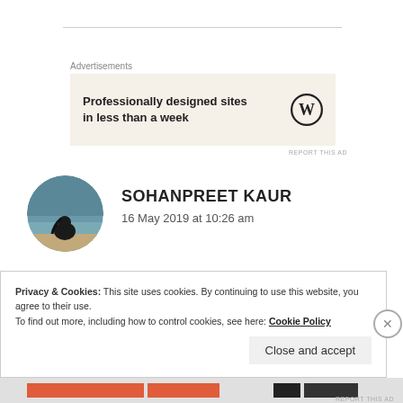[Figure (other): Advertisement banner with text 'Professionally designed sites in less than a week' and WordPress logo on beige background]
SOHANPREET KAUR
16 May 2019 at 10:26 am
Um .. I think its real as you have mentioned something about the trip before also..
Privacy & Cookies: This site uses cookies. By continuing to use this website, you agree to their use.
To find out more, including how to control cookies, see here: Cookie Policy
Close and accept